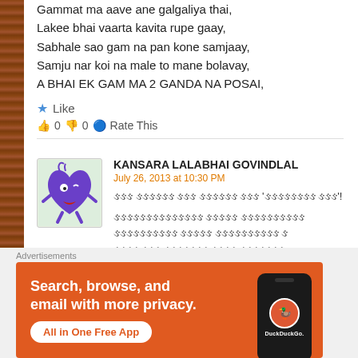Gammat ma aave ane galgaliya thai,
Lakee bhai vaarta kavita rupe gaay,
Sabhale sao gam na pan kone samjaay,
Samju nar koi na male to mane bolavay,
A BHAI EK GAM MA 2 GANDA NA POSAI,
★ Like
👍 0 👎 0 🔵 Rate This
KANSARA LALABHAI GOVINDLAL
July 26, 2013 at 10:30 PM
Gujarati text comment content
[Figure (illustration): Cartoon purple heart character with arms and legs, red lips, small eyes]
Advertisements
[Figure (screenshot): DuckDuckGo advertisement banner: Search, browse, and email with more privacy. All in One Free App. Orange background with phone graphic showing DuckDuckGo logo.]